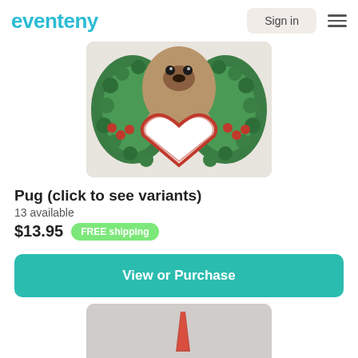eventeny | Sign in
[Figure (photo): Photo of a pug ornament holding a white heart, surrounded by a green holiday wreath with red berries]
Pug (click to see variants)
13 available
$13.95  FREE shipping
View or Purchase
[Figure (photo): Partial photo of another product item, showing a gray background with a red pencil or similar object]